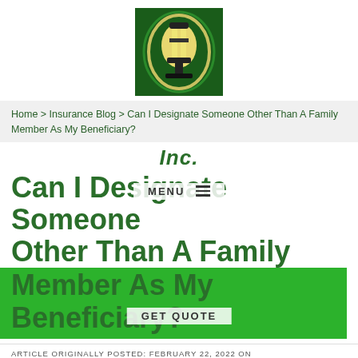[Figure (logo): Insurance company lantern logo on dark green background, oval shaped with yellow lantern illustration]
Home > Insurance Blog > Can I Designate Someone Other Than A Family Member As My Beneficiary?
Inc.
Can I Designate Someone Other Than A Family Member As My Beneficiary?
ARTICLE ORIGINALLY POSTED: FEBRUARY 22, 2022 ON